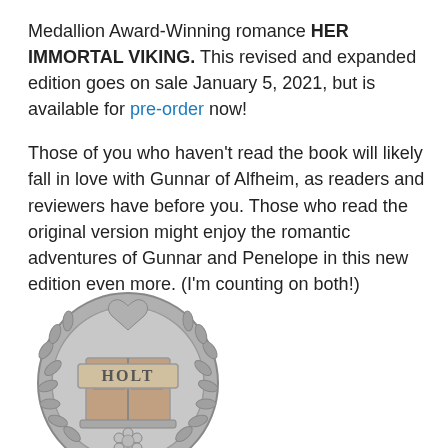Medallion Award-Winning romance HER IMMORTAL VIKING. This revised and expanded edition goes on sale January 5, 2021, but is available for pre-order now!
Those of you who haven't read the book will likely fall in love with Gunnar of Alfheim, as readers and reviewers have before you. Those who read the original version might enjoy the romantic adventures of Gunnar and Penelope in this new edition even more. (I'm counting on both!)
[Figure (photo): A silver Medallion Award medal/badge with a wreath border, an open book in the center, the letters HOLT on the book, a heart at the top, and a flower at the bottom.]